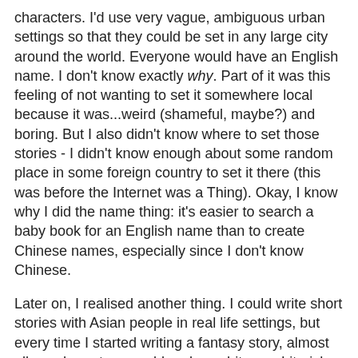characters. I'd use very vague, ambiguous urban settings so that they could be set in any large city around the world. Everyone would have an English name. I don't know exactly why. Part of it was this feeling of not wanting to set it somewhere local because it was...weird (shameful, maybe?) and boring. But I also didn't know where to set those stories - I didn't know enough about some random place in some foreign country to set it there (this was before the Internet was a Thing). Okay, I know why I did the name thing: it's easier to search a baby book for an English name than to create Chinese names, especially since I don't know Chinese.
Later on, I realised another thing. I could write short stories with Asian people in real life settings, but every time I started writing a fantasy story, almost all my characters would end up white or white-ish. Why? Because all the fantasy books I read growing up featured very eurocentric settings and characters. Fantasy was obviously a White People thing, Chinese people could not feature in them. It wasn't that I consciously thought this out - it was just there. In the back of my mind. Affecting all my creative decisions. I wrote about